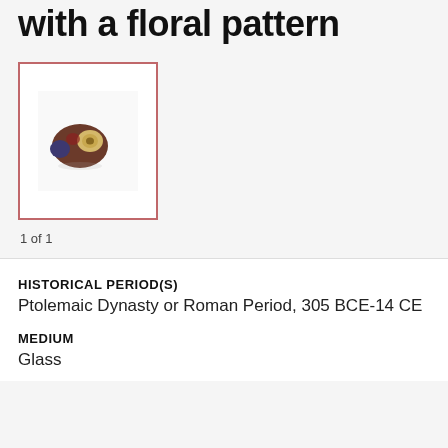with a floral pattern
[Figure (photo): Small glass bead with floral pattern, shown in thumbnail with red/pink border. The bead appears dark reddish-brown with a lighter yellowish section.]
1 of 1
HISTORICAL PERIOD(S)
Ptolemaic Dynasty or Roman Period, 305 BCE-14 CE
MEDIUM
Glass